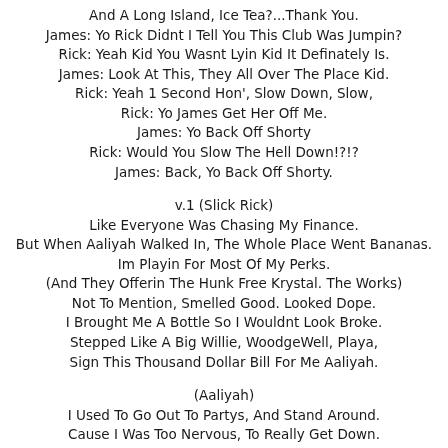And A Long Island, Ice Tea?...Thank You.
James: Yo Rick Didnt I Tell You This Club Was Jumpin?
Rick: Yeah Kid You Wasnt Lyin Kid It Definately Is.
James: Look At This, They All Over The Place Kid.
Rick: Yeah 1 Second Hon', Slow Down, Slow,
Rick: Yo James Get Her Off Me.
James: Yo Back Off Shorty
Rick: Would You Slow The Hell Down!?!?
James: Back, Yo Back Off Shorty.
v.1 (Slick Rick)
Like Everyone Was Chasing My Finance.
But When Aaliyah Walked In, The Whole Place Went Bananas.
Im Playin For Most Of My Perks.
(And They Offerin The Hunk Free Krystal. The Works)
Not To Mention, Smelled Good. Looked Dope.
I Brought Me A Bottle So I Wouldnt Look Broke.
Stepped Like A Big Willie, WoodgeWell, Playa,
Sign This Thousand Dollar Bill For Me Aaliyah.
(Aaliyah)
I Used To Go Out To Partys, And Stand Around.
Cause I Was Too Nervous, To Really Get Down.